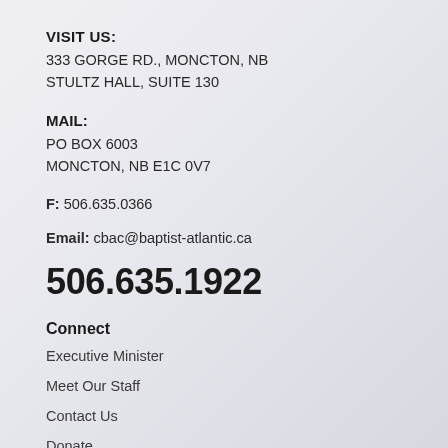VISIT US:
333 GORGE RD., MONCTON, NB
STULTZ HALL, SUITE 130
MAIL:
PO BOX 6003
MONCTON, NB E1C 0V7
F: 506.635.0366
Email: cbac@baptist-atlantic.ca
506.635.1922
Connect
Executive Minister
Meet Our Staff
Contact Us
Donate